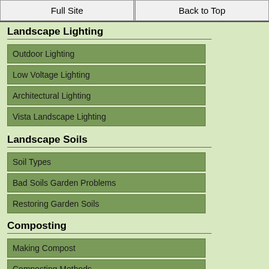Full Site | Back to Top
Landscape Lighting
Outdoor Lighting
Low Voltage Lighting
Architectural Lighting
Vista Landscape Lighting
Landscape Soils
Soil Types
Bad Soils Garden Problems
Restoring Garden Soils
Composting
Making Compost
Composting Methods
Compost Bins
Worm Composter
[Figure (logo): Active HONESTe - Click to Verify badge with date 09-06-22]